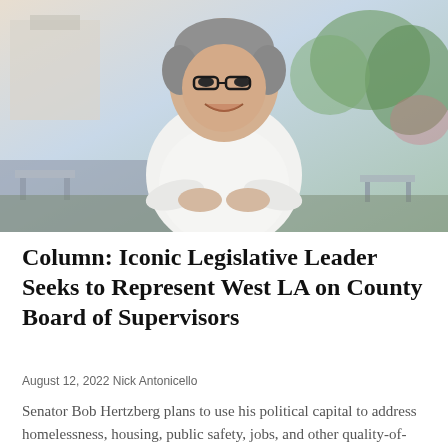[Figure (photo): A smiling older man with gray hair and black glasses, wearing a white shirt with arms crossed, standing outdoors with blurred trees and benches in the background.]
Column: Iconic Legislative Leader Seeks to Represent West LA on County Board of Supervisors
August 12, 2022 Nick Antonicello
Senator Bob Hertzberg plans to use his political capital to address homelessness, housing, public safety, jobs, and other quality-of-life concerns...